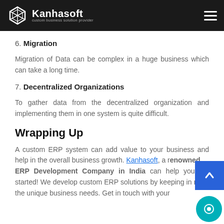Kanhasoft — custom business solution provider
6. Migration
Migration of Data can be complex in a huge business which can take a long time.
7. Decentralized Organizations
To gather data from the decentralized organization and implementing them in one system is quite difficult.
Wrapping Up
A custom ERP system can add value to your business and help in the overall business growth. Kanhasoft, a renowned ERP Development Company in India can help you get started! We develop custom ERP solutions by keeping in mind the unique business needs. Get in touch with your